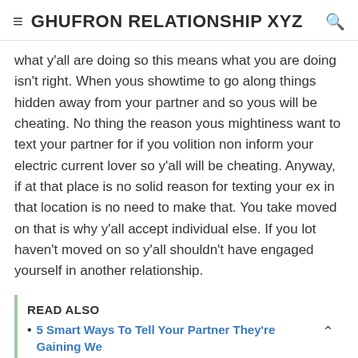≡ GHUFRON RELATIONSHIP XYZ 🔍
what y'all are doing so this means what you are doing isn't right. When yous showtime to go along things hidden away from your partner and so yous will be cheating. No thing the reason yous mightiness want to text your partner for if you volition non inform your electric current lover so y'all will be cheating. Anyway, if at that place is no solid reason for texting your ex in that location is no need to make that. You take moved on that is why y'all accept individual else. If you lot haven't moved on so y'all shouldn't have engaged yourself in another relationship.
READ ALSO
5 Smart Ways To Tell Your Partner They're Gaining We Without Hurting Them
5 Funky And Super Romantic Bollywood Dating Ideas